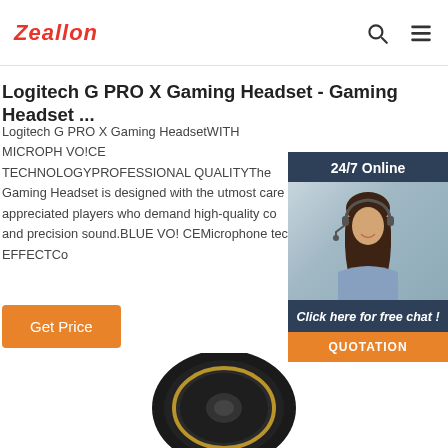Zeallon
Logitech G PRO X Gaming Headset - Gaming Headset ...
Logitech G PRO X Gaming HeadsetWITH MICROPH VO!CE TECHNOLOGYPROFESSIONAL QUALITYThe Gaming Headset is designed with the utmost care appreciated players who demand high-quality co and precision sound.BLUE VO! CEMicrophone tec EFFECTCo
[Figure (photo): Customer support representative wearing a headset, smiling, with 24/7 Online label and Click here for free chat widget with QUOTATION button]
[Figure (photo): Logitech G PRO X Gaming Headset product photo showing the earcup]